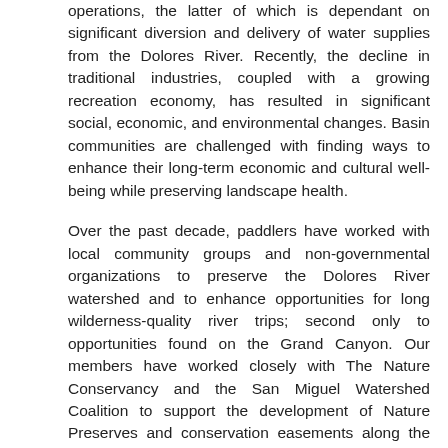operations, the latter of which is dependant on significant diversion and delivery of water supplies from the Dolores River. Recently, the decline in traditional industries, coupled with a growing recreation economy, has resulted in significant social, economic, and environmental changes. Basin communities are challenged with finding ways to enhance their long-term economic and cultural well-being while preserving landscape health.
Over the past decade, paddlers have worked with local community groups and non-governmental organizations to preserve the Dolores River watershed and to enhance opportunities for long wilderness-quality river trips; second only to opportunities found on the Grand Canyon. Our members have worked closely with The Nature Conservancy and the San Miguel Watershed Coalition to support the development of Nature Preserves and conservation easements along the river corridor. Our community has volunteered hundreds of hours removing invasive species, advising conservation strategies, and developing recommendations for utilization of McPhee Reservoir releases to support river recreation.